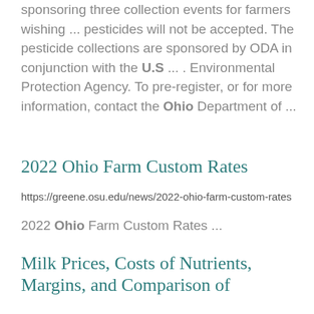sponsoring three collection events for farmers wishing ... pesticides will not be accepted. The pesticide collections are sponsored by ODA in conjunction with the U.S ... . Environmental Protection Agency. To pre-register, or for more information, contact the Ohio Department of ...
2022 Ohio Farm Custom Rates
https://greene.osu.edu/news/2022-ohio-farm-custom-rates
2022 Ohio Farm Custom Rates ...
Milk Prices, Costs of Nutrients, Margins, and Comparison of